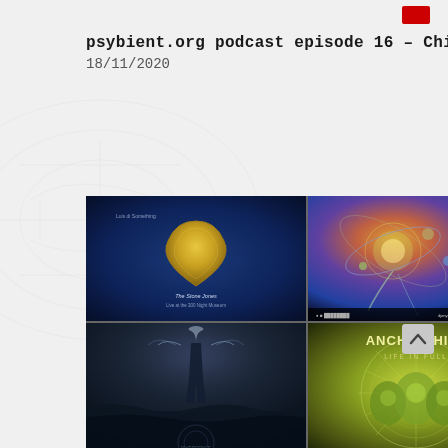[Figure (illustration): Small red notification badge rectangle in top-right area]
psybient.org podcast episode 16 – Chill in Canada with
18/11/2020
[Figure (illustration): Grid of four album cover artworks: top-left shows a blue background with golden guitar pick (The Stone Jones - Live at the 300 Night Museum); top-right shows a colorful cosmic/space scene with orbital elements; bottom-left shows a dark moody ocean/figure scene; bottom-right shows Anchor Hill green mandala nature art. Partially visible fifth and sixth album covers on the right edge.]